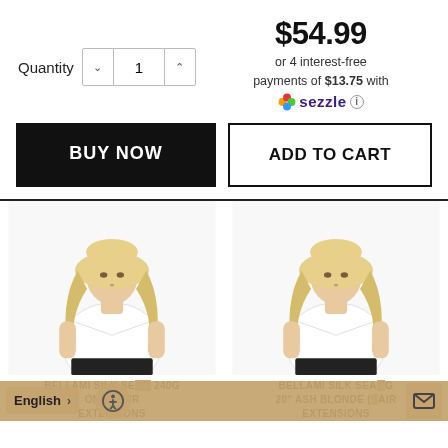$54.99
or 4 interest-free payments of $13.75 with Sezzle
Quantity 1
BUY NOW
ADD TO CART
[Figure (photo): Model with long blonde hair wearing white t-shirt, shown twice side by side]
BELLAMI SILK SEAM 240G EXTENSION HAIR EXTENSIONS
BELLAMI SILK SEAM 20" ASH BLONDE HAIR EXTENSIONS